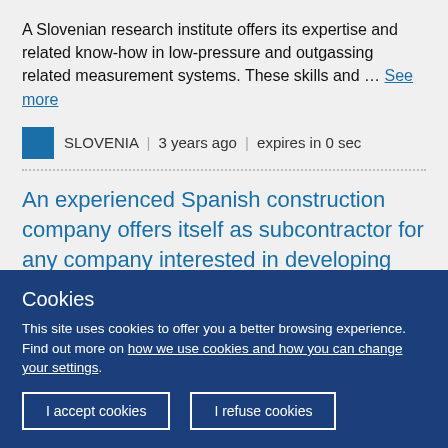A Slovenian research institute offers its expertise and related know-how in low-pressure and outgassing related measurement systems. These skills and … See more
SLOVENIA  |  3 years ago  |  expires in 0 sec
An experienced Spanish construction company offers itself as subcontractor for any company interested in developing construction and forestry projects
Cookies
This site uses cookies to offer you a better browsing experience. Find out more on how we use cookies and how you can change your settings.
I accept cookies
I refuse cookies